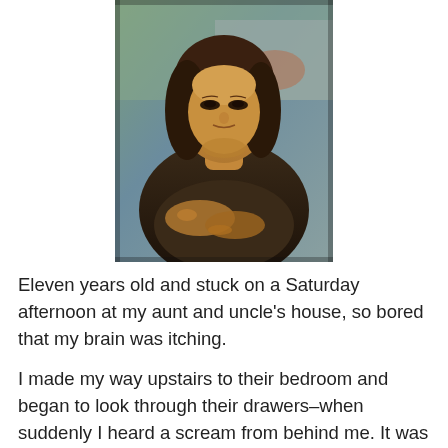[Figure (illustration): The Mona Lisa painting by Leonardo da Vinci, showing a woman with folded hands against a landscape background]
Eleven years old and stuck on a Saturday afternoon at my aunt and uncle's house, so bored that my brain was itching.
I made my way upstairs to their bedroom and began to look through their drawers–when suddenly I heard a scream from behind me. It was my mother in her fully enraged mode, scurrying in my direction, waving her